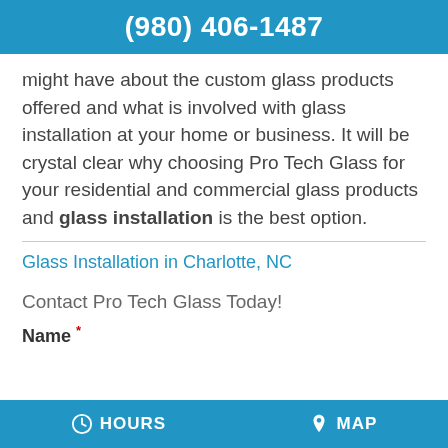(980) 406-1487
might have about the custom glass products offered and what is involved with glass installation at your home or business. It will be crystal clear why choosing Pro Tech Glass for your residential and commercial glass products and glass installation is the best option.
Glass Installation in Charlotte, NC
Contact Pro Tech Glass Today!
Name *
HOURS   MAP